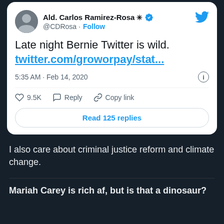[Figure (screenshot): Embedded tweet from @CDRosa (Ald. Carlos Ramirez-Rosa) saying 'Late night Bernie Twitter is wild. twitter.com/groworpay/stat...' posted at 5:35 AM · Feb 14, 2020, with 9.5K likes, Reply and Copy link options, and a Read 125 replies button.]
I also care about criminal justice reform and climate change.
Mariah Carey is rich af, but is that a dinosaur?